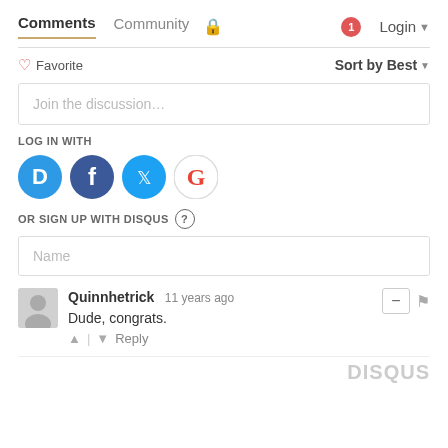Comments  Community  Login
♡ Favorite   Sort by Best ▾
Join the discussion...
LOG IN WITH
[Figure (illustration): Social login icons: Disqus (blue D), Facebook (dark blue f), Twitter (light blue bird), Google (red G)]
OR SIGN UP WITH DISQUS ?
Name
Quinnhetrick  11 years ago
Dude, congrats.
▲ | ▼  Reply